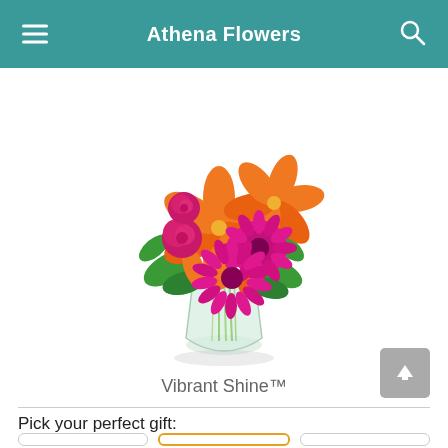Athena Flowers
[Figure (photo): A floral arrangement called Vibrant Shine — orange lilies, magenta/pink gerbera daisies, pink roses, and green foliage in a clear glass vase.]
Vibrant Shine™
Pick your perfect gift: